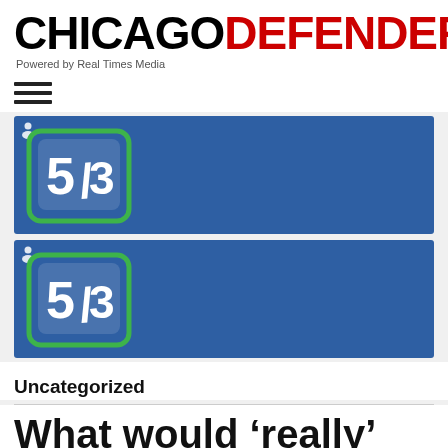CHICAGO DEFENDER - Powered by Real Times Media
[Figure (logo): Fifth Third Bank banner advertisement, blue background with 5/3 Bank logo on left]
[Figure (logo): Fifth Third Bank banner advertisement, blue background with 5/3 Bank logo on left]
Uncategorized
What would ‘really’